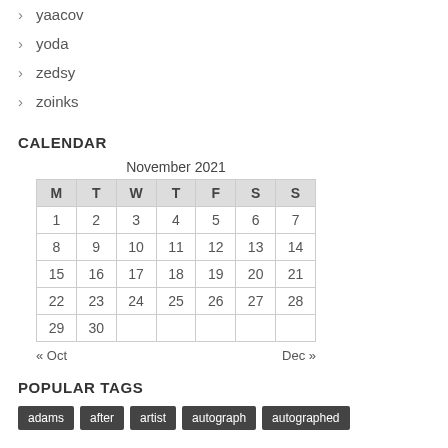yaacov
yoda
zedsy
zoinks
CALENDAR
| M | T | W | T | F | S | S |
| --- | --- | --- | --- | --- | --- | --- |
| 1 | 2 | 3 | 4 | 5 | 6 | 7 |
| 8 | 9 | 10 | 11 | 12 | 13 | 14 |
| 15 | 16 | 17 | 18 | 19 | 20 | 21 |
| 22 | 23 | 24 | 25 | 26 | 27 | 28 |
| 29 | 30 |  |  |  |  |  |
POPULAR TAGS
adams
after
artist
autograph
autographed